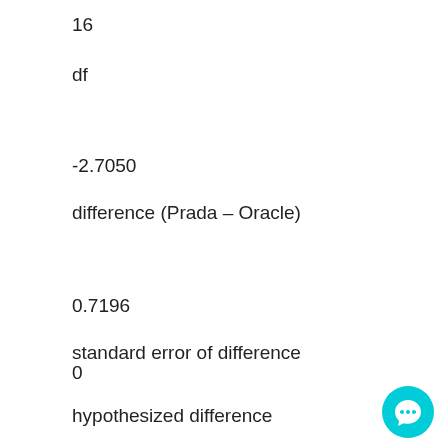16
df
-2.7050
difference (Prada – Oracle)
0.7196
standard error of difference
0
hypothesized difference
[Figure (illustration): Cyan circular chat/message bubble icon in bottom right corner]